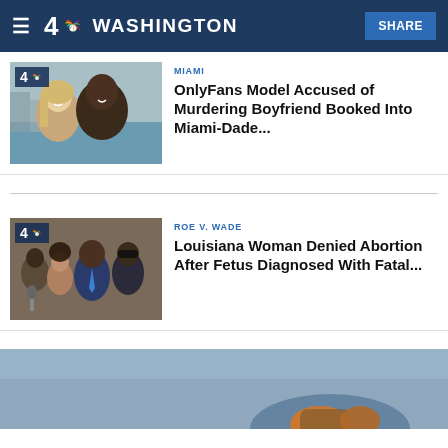4 NBC WASHINGTON  SHARE
[Figure (photo): NBC4 Washington logo thumbnail with couple photo (blonde woman and Black man selfie outdoors near waterfront)]
OnlyFans Model Accused of Murdering Boyfriend Booked Into Miami-Dade...
[Figure (photo): NBC4 Washington logo thumbnail with crowd of people at press conference, man in blue tie prominent]
ROE V. WADE
Louisiana Woman Denied Abortion After Fetus Diagnosed With Fatal...
[Figure (photo): Wide bottom image of gray sky with partial view of object with orange/brown detail]